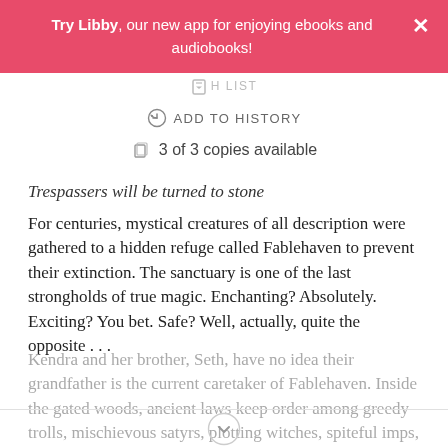Try Libby, our new app for enjoying ebooks and audiobooks!
ADD TO HISTORY
3 of 3 copies available
Trespassers will be turned to stone
For centuries, mystical creatures of all description were gathered to a hidden refuge called Fablehaven to prevent their extinction. The sanctuary is one of the last strongholds of true magic. Enchanting? Absolutely. Exciting? You bet. Safe? Well, actually, quite the opposite . . .
Kendra and her brother, Seth, have no idea their grandfather is the current caretaker of Fablehaven. Inside the gated woods, ancient laws keep order among greedy trolls, mischievous satyrs, plotting witches, spiteful imps,